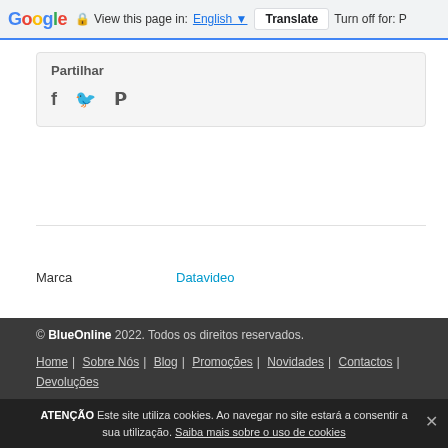Google   View this page in: English ▼   Translate   Turn off for: P
Partilhar
[Figure (other): Social share icons: Facebook (f), Twitter (bird), Pinterest (P)]
Marca   Datavideo
© BlueOnline 2022. Todos os direitos reservados.
Home | Sobre Nós | Blog | Promoções | Novidades | Contactos | Devoluções
Aos valores apresentados acresce IVA à taxa legal em vigor.
ATENÇÃO Este site utiliza cookies. Ao navegar no site estará a consentir a sua utilização. Saiba mais sobre o uso de cookies